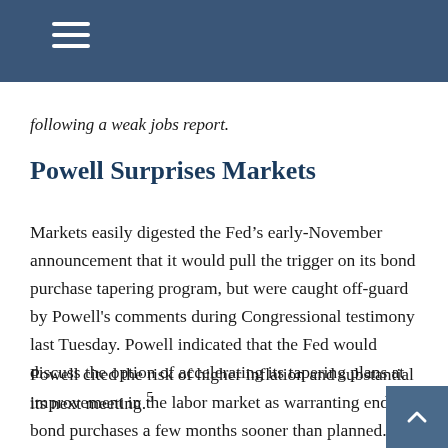following a weak jobs report.
Powell Surprises Markets
Markets easily digested the Fed’s early-November announcement that it would pull the trigger on its bond purchase tapering program, but were caught off-guard by Powell's comments during Congressional testimony last Tuesday. Powell indicated that the Fed would discuss the option of accelerating its tapering plans at its next meeting.5
Powell cited the risk of higher inflation and substantial improvement in the labor market as warranting ending bond purchases a few months sooner than planned. Powell sought to move away from describing inflation as transitory, claiming that it is necessary to...